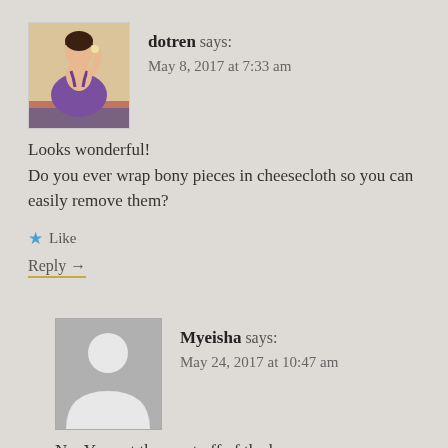[Figure (photo): Avatar of user 'dotren' — a vintage pin-up style illustration of a woman in a purple dress]
dotren says:
May 8, 2017 at 7:33 am
Looks wonderful!
Do you ever wrap bony pieces in cheesecloth so you can easily remove them?
★ Like
Reply →
[Figure (illustration): Default avatar silhouette — grey background with white person silhouette icon]
Myeisha says:
May 24, 2017 at 10:47 am
No. You eat the meat off of the bone.
★ Like
Reply →